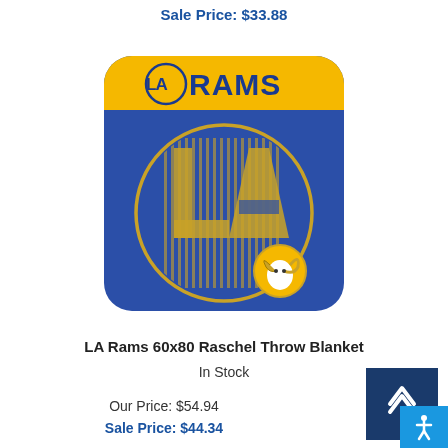Sale Price: $33.88
[Figure (photo): LA Rams 60x80 Raschel Throw Blanket folded, showing blue blanket with gold LA Rams logo and yellow header stripe with LA RAMS text]
LA Rams 60x80 Raschel Throw Blanket
In Stock
Our Price: $54.94
Sale Price: $44.34